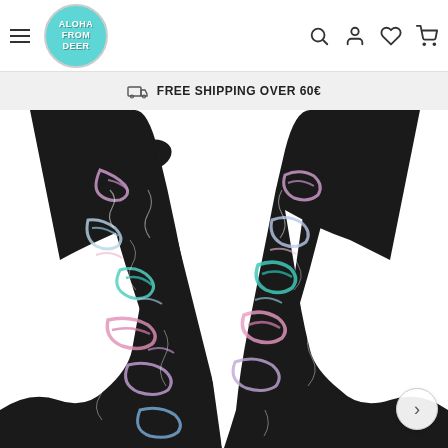Aloha From Deer — FREE SHIPPING OVER 60€
FREE SHIPPING OVER 60€
[Figure (photo): Close-up product photo of a tie-dye black and holographic/iridescent (pink, blue, purple) dress with a deep V-neckline and knotted shoulder straps, against a white background.]